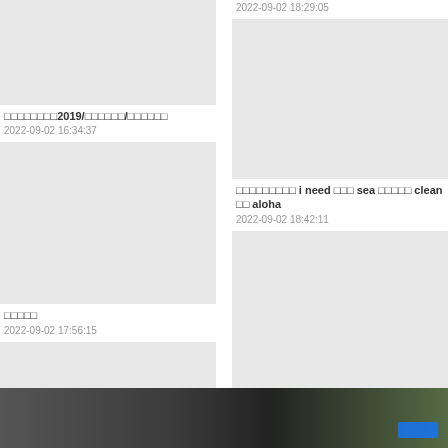[Figure (photo): Gray placeholder image, top left]
□□□□□□□□2019/□□□□□□/□□□□□□
2022-09-02 16:34:37
[Figure (photo): Gray placeholder image, left middle]
□□□□□
2022-09-02 17:56:15
[Figure (photo): Gray placeholder image, left bottom]
2022-09-02 18:29:05
[Figure (photo): Gray placeholder image, right upper]
□□□□□□□□□ i need □□□ sea □□□□□ clean □□ aloha
2022-09-02 18:42:11
[Figure (photo): Gray placeholder image, right lower]
□□□□
[Figure (photo): Photo of person's face at bottom of page]